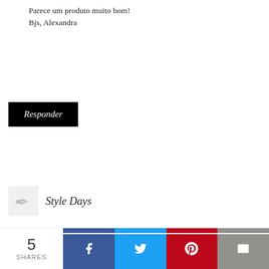Parece um produto muito bom!
Bjs, Alexandra
Responder
Style Days
Parece um produto bastante interessante :)
www.daystyleblogspot.pt
This site uses cookies from Google to deliver its services and to analyze traffic. Your IP address and user-agent are shared with Google along with performance and security metrics to ensure quality of service, generate usage statistics, and to detect and address abuse.
Responder
5 SHARES